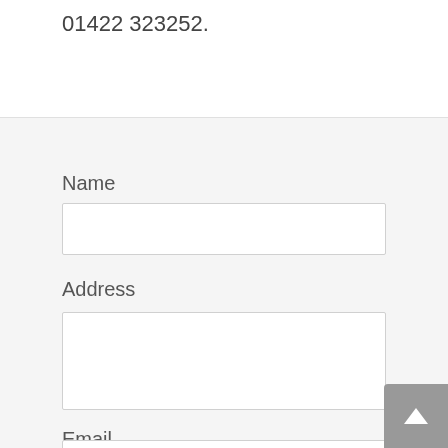01422 323252.
Name
Address
Email